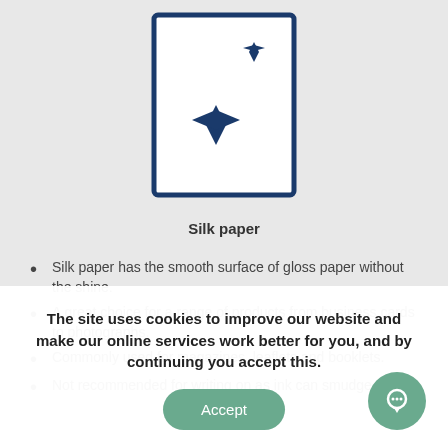[Figure (illustration): A rectangle with a dark blue border containing two dark blue four-pointed star/diamond shapes, representing silk paper quality.]
Silk paper
Silk paper has the smooth surface of gloss paper without the shine.
A great choice for a range of products from business cards to photographs.
Commonly used for magazines, leaflets and booklets.
Not recommended for writing on as ink can smudge.
The site uses cookies to improve our website and make our online services work better for you, and by continuing you accept this.
Accept